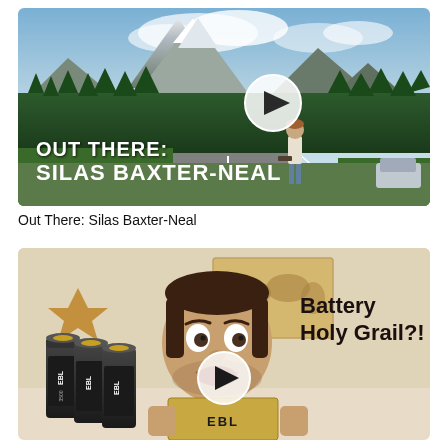[Figure (screenshot): Video thumbnail showing a mountain landscape with a road, trees, and a person holding a skateboard. Text overlay reads 'OUT THERE: SILAS BAXTER-NEAL' with a play button circle icon.]
Out There: Silas Baxter-Neal
[Figure (screenshot): Video thumbnail showing a man holding EBL batteries with text overlay 'Battery Holy Grail?!' and a play button circle icon. EBL branded cylindrical batteries visible in foreground, world map poster in background.]